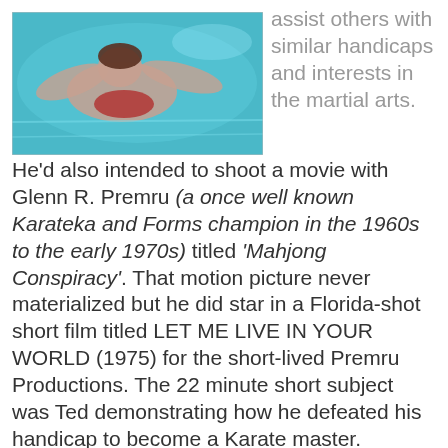[Figure (photo): Underwater photo of a person swimming in a pool, arms outstretched, viewed from below with light blue water.]
assist others with similar handicaps and interests in the martial arts.
He'd also intended to shoot a movie with Glenn R. Premru (a once well known Karateka and Forms champion in the 1960s to the early 1970s) titled 'Mahjong Conspiracy'. That motion picture never materialized but he did star in a Florida-shot short film titled LET ME LIVE IN YOUR WORLD (1975) for the short-lived Premru Productions. The 22 minute short subject was Ted demonstrating how he defeated his handicap to become a Karate master.
[Figure (photo): Dark dramatic photo of two men, one older with grey hair in foreground, one in background, in a moody low-light scene.]